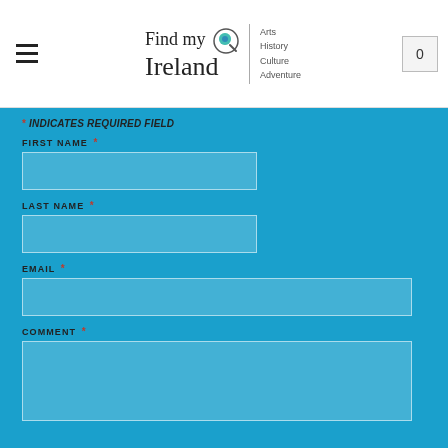[Figure (logo): Find my Ireland logo with magnifying glass icon and tagline: Arts, History, Culture, Adventure]
* INDICATES REQUIRED FIELD
FIRST NAME *
LAST NAME *
EMAIL *
COMMENT *